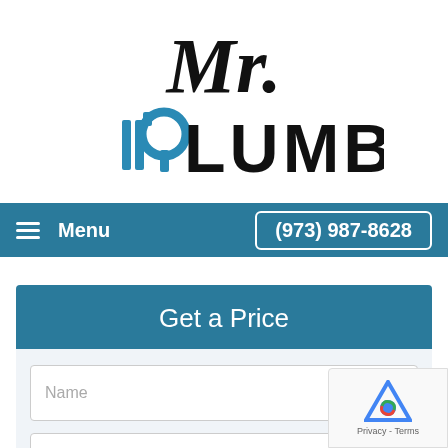[Figure (logo): Mr. Plumber logo with cursive 'Mr.' text above and 'LUMBER' in bold with blue plumbing pipe icon replacing the P]
Menu   (973) 987-8628
Get a Price
Name
Email
Phone Number